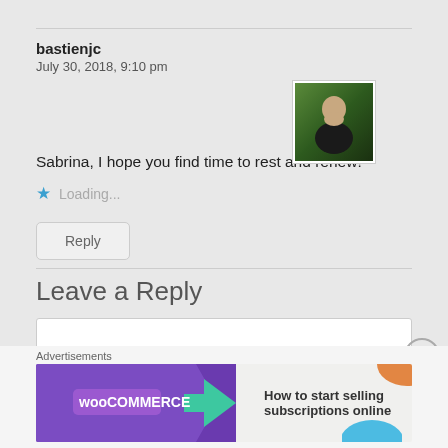bastienjc
July 30, 2018, 9:10 pm
[Figure (photo): Avatar photo of a person sitting outdoors, green foliage background]
Sabrina, I hope you find time to rest and renew!
Loading...
Reply
Leave a Reply
Enter your comment here...
Advertisements
[Figure (infographic): WooCommerce advertisement banner: How to start selling subscriptions online]